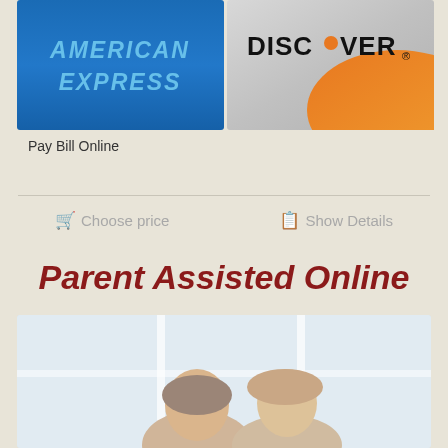[Figure (logo): American Express credit card logo - blue background with italic text]
[Figure (logo): Discover credit card logo - silver and orange background with Discover text]
Pay Bill Online
Choose price
Show Details
Parent Assisted Online
[Figure (photo): Two adults (parent and child/student) looking at something together, smiling, in front of a window]